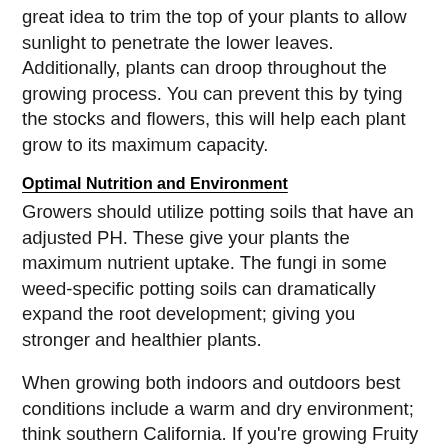great idea to trim the top of your plants to allow sunlight to penetrate the lower leaves. Additionally, plants can droop throughout the growing process. You can prevent this by tying the stocks and flowers, this will help each plant grow to its maximum capacity.
Optimal Nutrition and Environment
Growers should utilize potting soils that have an adjusted PH. These give your plants the maximum nutrient uptake. The fungi in some weed-specific potting soils can dramatically expand the root development; giving you stronger and healthier plants.
When growing both indoors and outdoors best conditions include a warm and dry environment; think southern California. If you're growing Fruity Pebbles outdoors you should place each plant where they'll be exposed to indirect sunlight, maybe on the outskirts of your garden. Find yourself a steady temperate climate to produce the healthiest and highest quality of plants.